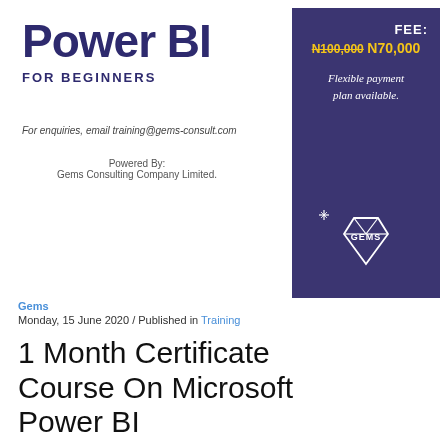Power BI
FOR BEGINNERS
For enquiries, email training@gems-consult.com
Powered By:
Gems Consulting Company Limited.
[Figure (infographic): Dark purple/navy right panel with FEE: label, strikethrough N100,000 and N70,000 price in yellow, flexible payment plan text, and GEMS diamond logo at bottom]
Gems
Monday, 15 June 2020 / Published in Training
1 Month Certificate Course On Microsoft Power BI
Objective